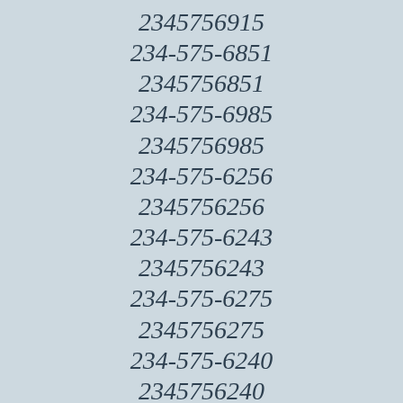2345756915
234-575-6851
2345756851
234-575-6985
2345756985
234-575-6256
2345756256
234-575-6243
2345756243
234-575-6275
2345756275
234-575-6240
2345756240
234-575-6377
2345756377
234-575-6583